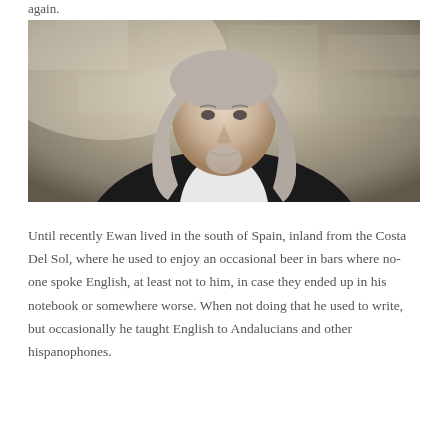again.
[Figure (photo): A man with long grey hair and a beard wearing a black jacket and white shirt, standing in front of a stone wall background.]
Until recently Ewan lived in the south of Spain, inland from the Costa Del Sol, where he used to enjoy an occasional beer in bars where no-one spoke English, at least not to him, in case they ended up in his notebook or somewhere worse. When not doing that he used to write, but occasionally he taught English to Andalucians and other hispanophones.